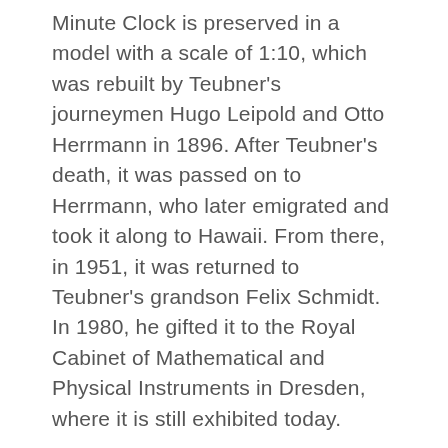Minute Clock is preserved in a model with a scale of 1:10, which was rebuilt by Teubner's journeymen Hugo Leipold and Otto Herrmann in 1896. After Teubner's death, it was passed on to Herrmann, who later emigrated and took it along to Hawaii. From there, in 1951, it was returned to Teubner's grandson Felix Schmidt. In 1980, he gifted it to the Royal Cabinet of Mathematical and Physical Instruments in Dresden, where it is still exhibited today.